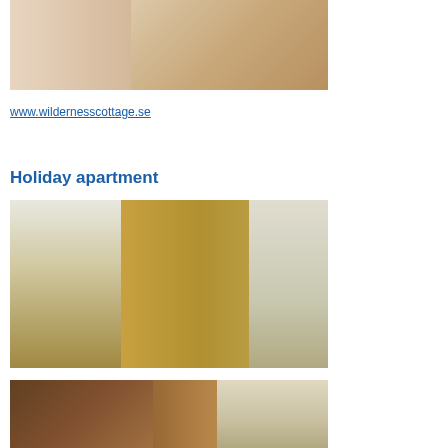[Figure (photo): Interior room photo showing a bed with folded towels, a radiator, a desk/console table with a lamp and vase with flowers, wooden walls and floors]
www.wildernesscottage.se
Holiday apartment
[Figure (photo): Interior photo of a holiday apartment showing a white kitchen on the left, wooden bunk beds in the center, a dining table with orange napkins and chairs, and a window on the right]
[Figure (photo): Interior photo showing a wooden hallway/entrance area with warm lighting and a white refrigerator visible on the right side]